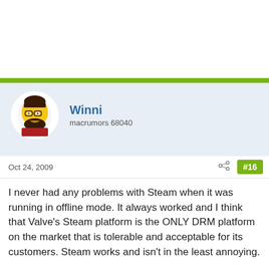[Figure (illustration): Top white space area, likely an advertisement or banner area above the forum post]
Winni
macrumors 68040
Oct 24, 2009
#16
I never had any problems with Steam when it was running in offline mode. It always worked and I think that Valve's Steam platform is the ONLY DRM platform on the market that is tolerable and acceptable for its customers. Steam works and isn't in the least annoying.
As for Windows - well, I'm more or less platform agnostic. After a few minutes, I know longer really feel the difference whether I'm currently using OS X, Windows, Linux or whatever else I need to use at that moment.